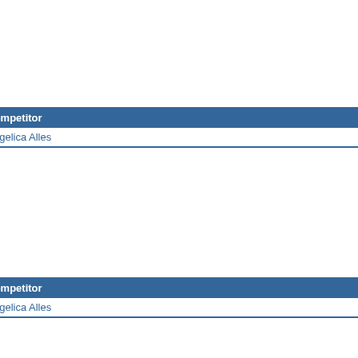[Figure (illustration): Kangaroo mascot in swimming gear (goggles, orange shorts) with swimming pool graphic]
Sport: Swimming | Event: Women's 2 | Heat: Final
| Position | Lane | Competitor |
| --- | --- | --- |
| 6th | 8 | Angelica Alles |
Last Result: 03/07/2007 19:51:58
[Figure (illustration): Kangaroo mascot in swimming gear (goggles, orange shorts) with swimming pool graphic]
Sport: Swimming | Event: Women's 2 | Heat: Prelims
| Position | Lane | Competitor |
| --- | --- | --- |
| 8th | 1 | Angelica Alles |
Last Result: 03/07/2007 12:30:43
[Figure (illustration): Kangaroo mascot in swimming gear (goggles, orange shorts) with swimming pool graphic]
Sport: Swimming | Event: Women's 4 | Heat: Final
| Position | Lane | Team | Members |
| --- | --- | --- | --- |
| 7th | 1 | Gotland | Ang
Pet
Nan
Stim
Ida |